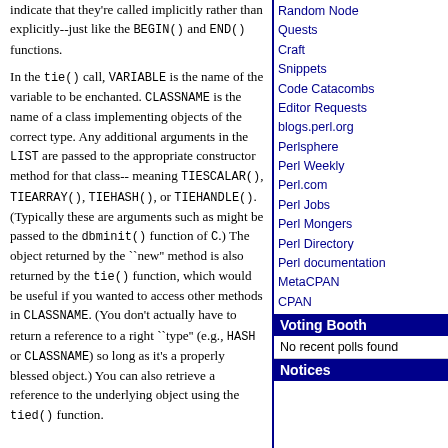indicate that they're called implicitly rather than explicitly--just like the BEGIN() and END() functions.
In the tie() call, VARIABLE is the name of the variable to be enchanted. CLASSNAME is the name of a class implementing objects of the correct type. Any additional arguments in the LIST are passed to the appropriate constructor method for that class--meaning TIESCALAR(), TIEARRAY(), TIEHASH(), or TIEHANDLE(). (Typically these are arguments such as might be passed to the dbminit() function of C.) The object returned by the ``new'' method is also returned by the tie() function, which would be useful if you wanted to access other methods in CLASSNAME. (You don't actually have to return a reference to a right ``type'' (e.g., HASH or CLASSNAME) so long as it's a properly blessed object.) You can also retrieve a reference to the underlying object using the tied() function.
Random Node
Quests
Craft
Snippets
Code Catacombs
Editor Requests
blogs.perl.org
Perlsphere
Perl Weekly
Perl.com
Perl Jobs
Perl Mongers
Perl Directory
Perl documentation
MetaCPAN
CPAN
Voting Booth
No recent polls found
Notices